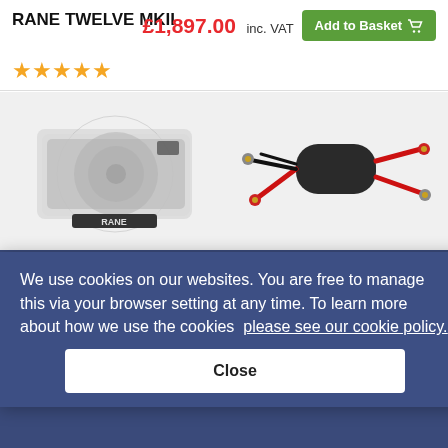RANE TWELVE MKII
£1,897.00 inc. VAT
Add to Basket
[Figure (photo): Decksaver cover for Rane Twelve MK1 and MK2 turntable controller]
[Figure (photo): High Quality Ground Loop Isolator with RCA cables]
We use cookies on our websites. You are free to manage this via your browser setting at any time. To learn more about how we use the cookies please see our cookie policy.
Close
This DJKit comes complete with everything to get started